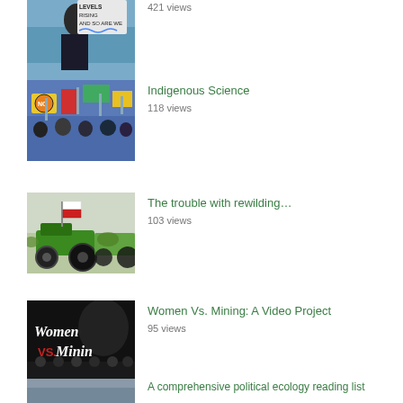[Figure (photo): Partial view of protest photo showing person with sign reading levels rising and so are we, 421 views]
421 views
[Figure (photo): Crowd of protesters with colorful signs and flags at Indigenous Science march]
Indigenous Science
118 views
[Figure (photo): Tractors with Polish white-red flags on street, The trouble with rewilding]
The trouble with rewilding...
103 views
[Figure (photo): Black background with stylized text Women vs Mining: A Video Project]
Women Vs. Mining: A Video Project
95 views
[Figure (photo): Partial thumbnail for A comprehensive political ecology reading list]